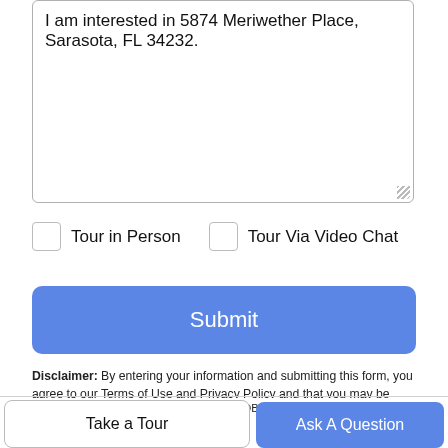I am interested in 5874 Meriwether Place, Sarasota, FL 34232.
Tour in Person   Tour Via Video Chat
Submit
Disclaimer: By entering your information and submitting this form, you agree to our Terms of Use and Privacy Policy and that you may be contacted by phone, text message and email about your inquiry.
[Figure (logo): My Florida Regional MLS DBA Stellar MLS logo — purple and teal leaf/flower design]
© 2022 My Florida Regional MLS DBA Stellar MLS. All rights reserved. All listings displayed pursuant to
Take a Tour
Ask A Question